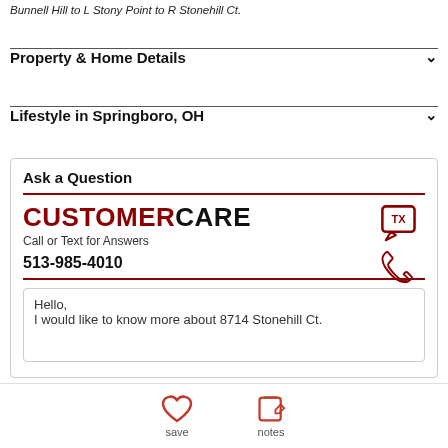Bunnell Hill to L Stony Point to R Stonehill Ct.
Property & Home Details
Lifestyle in Springboro, OH
Ask a Question
CUSTOMERCARE
Call or Text for Answers
513-985-4010
Hello,
I would like to know more about 8714 Stonehill Ct.
save   notes